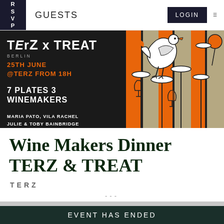RSVP  GUESTS  LOGIN
[Figure (illustration): Event banner for TERZ x TREAT Berlin on 25th June from 18h, featuring 7 plates and 3 winemakers: Maria Pato, Vila Rachel, Julie & Toby Bainbridge. Right side shows illustrated artwork of a bird/duck juggling wine glasses and plates on stems against an orange and grey background.]
Wine Makers Dinner TERZ & TREAT
TERZ
---
EVENT HAS ENDED